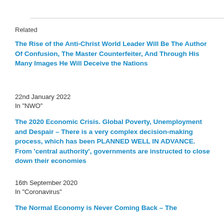Related
The Rise of the Anti-Christ World Leader Will Be The Author Of Confusion, The Master Counterfeiter, And Through His Many Images He Will Deceive the Nations
22nd January 2022
In "NWO"
The 2020 Economic Crisis. Global Poverty, Unemployment and Despair – There is a very complex decision-making process, which has been PLANNED WELL IN ADVANCE. From 'central authority', governments are instructed to close down their economies
16th September 2020
In "Coronavirus"
The Normal Economy is Never Coming Back – The